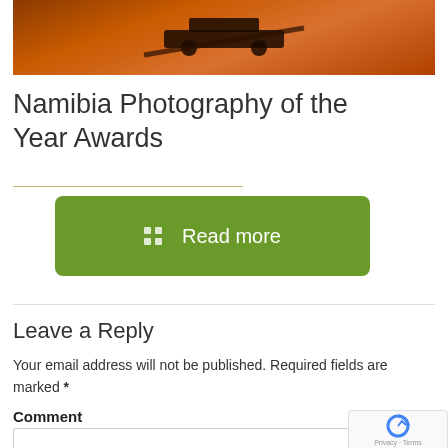[Figure (photo): Photograph showing a silhouette of what appears to be a vehicle on an orange/brown desert sand dune landscape in Namibia]
Namibia Photography of the Year Awards
Read more
Leave a Reply
Your email address will not be published. Required fields are marked *
Comment